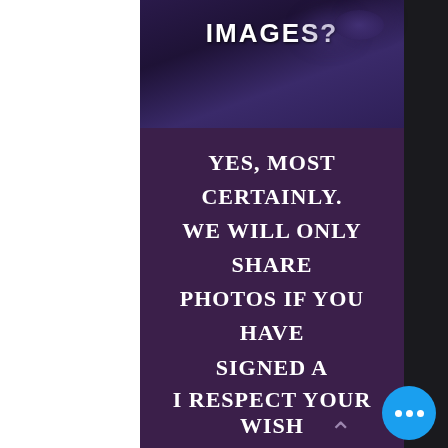[Figure (screenshot): Dark purple background image with glowing orb/bubble elements at the top of the content panel]
IMAGES?
Yes, most certainly. We will only share photos if you have signed a release by giving us permission and approve the images for sharing
I respect your wish